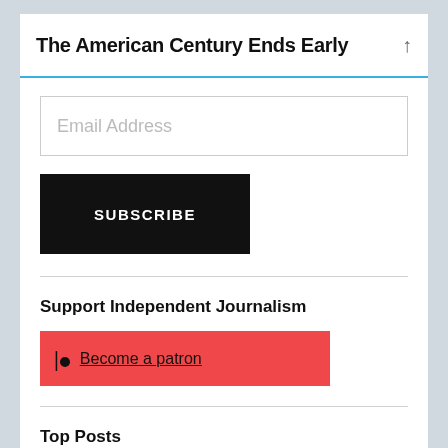The American Century Ends Early
[Figure (screenshot): Email address input field with placeholder text 'Email Address']
[Figure (screenshot): Black SUBSCRIBE button]
Support Independent Journalism
[Figure (screenshot): Red Patreon button with text 'Become a patron']
Top Posts
Chris Hedges: Ukraine and the Politics of Permanent War